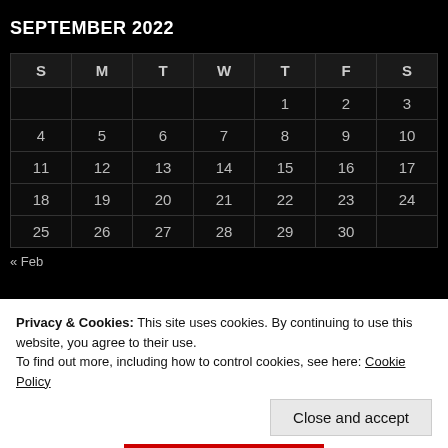SEPTEMBER 2022
| S | M | T | W | T | F | S |
| --- | --- | --- | --- | --- | --- | --- |
|  |  |  |  | 1 | 2 | 3 |
| 4 | 5 | 6 | 7 | 8 | 9 | 10 |
| 11 | 12 | 13 | 14 | 15 | 16 | 17 |
| 18 | 19 | 20 | 21 | 22 | 23 | 24 |
| 25 | 26 | 27 | 28 | 29 | 30 |  |
« Feb
Privacy & Cookies: This site uses cookies. By continuing to use this website, you agree to their use. To find out more, including how to control cookies, see here: Cookie Policy
Close and accept